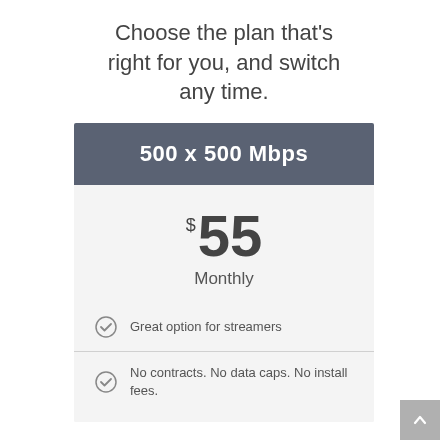Choose the plan that's right for you, and switch any time.
500 x 500 Mbps
$55 Monthly
Great option for streamers
No contracts. No data caps. No install fees.